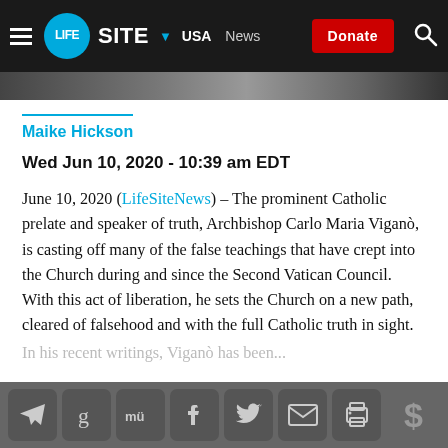LifeSite | USA | News | Donate
Maike Hickson
Wed Jun 10, 2020 - 10:39 am EDT
June 10, 2020 (LifeSiteNews) – The prominent Catholic prelate and speaker of truth, Archbishop Carlo Maria Viganò, is casting off many of the false teachings that have crept into the Church during and since the Second Vatican Council. With this act of liberation, he sets the Church on a new path, cleared of falsehood and with the full Catholic truth in sight.